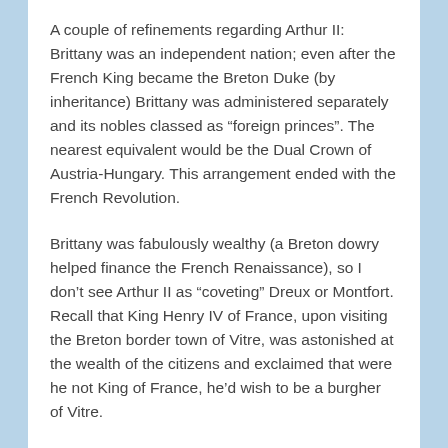A couple of refinements regarding Arthur II: Brittany was an independent nation; even after the French King became the Breton Duke (by inheritance) Brittany was administered separately and its nobles classed as “foreign princes”. The nearest equivalent would be the Dual Crown of Austria-Hungary. This arrangement ended with the French Revolution.
Brittany was fabulously wealthy (a Breton dowry helped finance the French Renaissance), so I don’t see Arthur II as “coveting” Dreux or Montfort. Recall that King Henry IV of France, upon visiting the Breton border town of Vitre, was astonished at the wealth of the citizens and exclaimed that were he not King of France, he’d wish to be a burgher of Vitre.
Due to their country’s favourable trading location and their enterprising Breton merchants...